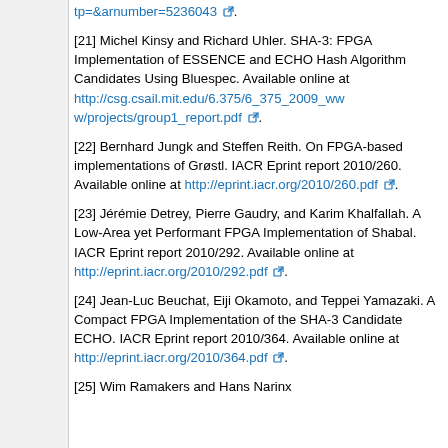tp=&arnumber=5236043 [link icon].
[21] Michel Kinsy and Richard Uhler. SHA-3: FPGA Implementation of ESSENCE and ECHO Hash Algorithm Candidates Using Bluespec. Available online at http://csg.csail.mit.edu/6.375/6_375_2009_www/projects/group1_report.pdf [link icon].
[22] Bernhard Jungk and Steffen Reith. On FPGA-based implementations of Grøstl. IACR Eprint report 2010/260. Available online at http://eprint.iacr.org/2010/260.pdf [link icon].
[23] Jérémie Detrey, Pierre Gaudry, and Karim Khalfallah. A Low-Area yet Performant FPGA Implementation of Shabal. IACR Eprint report 2010/292. Available online at http://eprint.iacr.org/2010/292.pdf [link icon].
[24] Jean-Luc Beuchat, Eiji Okamoto, and Teppei Yamazaki. A Compact FPGA Implementation of the SHA-3 Candidate ECHO. IACR Eprint report 2010/364. Available online at http://eprint.iacr.org/2010/364.pdf [link icon].
[25] Wim Ramakers and Hans Narinx...